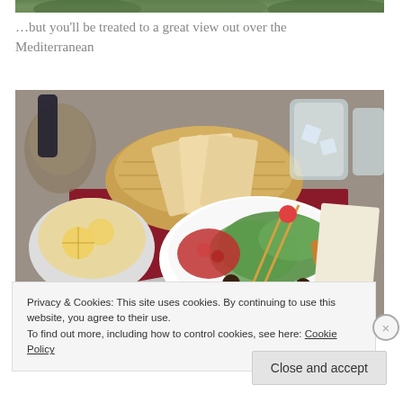[Figure (photo): Top portion of a photo showing trees/greenery, partially cropped at top of page]
…but you'll be treated to a great view out over the Mediterranean
[Figure (photo): Restaurant table with food: a bowl of soup with lemon slices, a wicker bread basket with baguette slices, a white plate with salad, salsa, and grilled items, water glasses, fork and knife on a red placemat]
Privacy & Cookies: This site uses cookies. By continuing to use this website, you agree to their use.
To find out more, including how to control cookies, see here: Cookie Policy
Close and accept